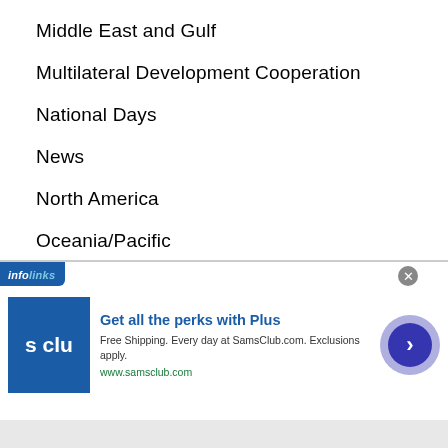Middle East and Gulf
Multilateral Development Cooperation
National Days
News
North America
Oceania/Pacific
Opinion Articles
Pakistan
Public Diplomacy
Publications
Reports
[Figure (screenshot): Infolinks advertisement banner for SamsClub.com with logo, text 'Get all the perks with Plus', 'Free Shipping. Every day at SamsClub.com. Exclusions apply.', URL www.samsclub.com, close button, and arrow button]